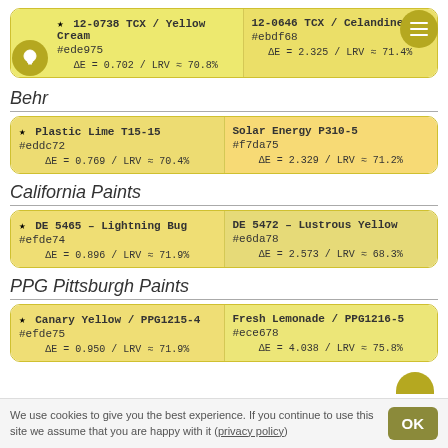| Color 1 | Color 2 |
| --- | --- |
| ★ 12-0738 TCX / Yellow Cream
#ede975
ΔE = 0.702 / LRV ≈ 70.8% | 12-0646 TCX / Celandine
#ebdf68
ΔE = 2.325 / LRV ≈ 71.4% |
Behr
| Color 1 | Color 2 |
| --- | --- |
| ★ Plastic Lime T15-15
#eddc72
ΔE = 0.769 / LRV ≈ 70.4% | Solar Energy P310-5
#f7da75
ΔE = 2.329 / LRV ≈ 71.2% |
California Paints
| Color 1 | Color 2 |
| --- | --- |
| ★ DE 5465 – Lightning Bug
#efde74
ΔE = 0.896 / LRV ≈ 71.9% | DE 5472 – Lustrous Yellow
#e6da78
ΔE = 2.573 / LRV ≈ 68.3% |
PPG Pittsburgh Paints
| Color 1 | Color 2 |
| --- | --- |
| ★ Canary Yellow / PPG1215-4
#efde75
ΔE = 0.950 / LRV ≈ 71.9% | Fresh Lemonade / PPG1216-5
#ece678
ΔE = 4.038 / LRV ≈ 75.8% |
We use cookies to give you the best experience. If you continue to use this site we assume that you are happy with it (privacy policy)